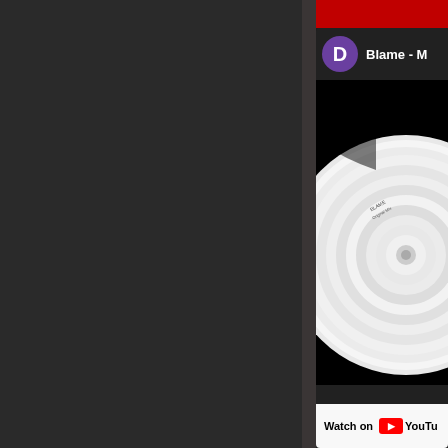[Figure (screenshot): Screenshot of a YouTube embed/card on a dark background. Left two-thirds is a dark gray panel. A narrow darker divider separates the left from a right YouTube card panel. The card shows a purple avatar circle with letter D, a title starting 'Blame - M', a video thumbnail with a vinyl record on black background, and a 'Watch on YouTube' footer bar.]